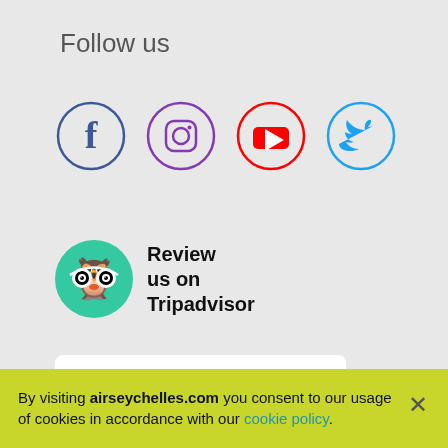Follow us
[Figure (logo): Four social media icons in circles: Facebook (blue), Instagram (purple), YouTube (red), Twitter (light blue)]
[Figure (logo): TripAdvisor logo: green circle with owl face icon and text 'Review us on Tripadvisor']
Switzerland (dropdown selector)
English (dropdown selector)
Terms & Conditions  Privacy policy  Site map
By visiting airseychelles.com you consent to our usage of cookies in accordance with our cookie policy.